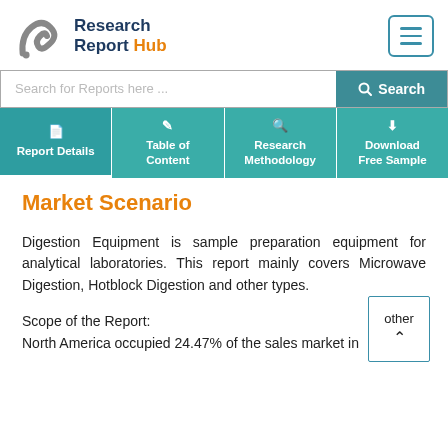Research Report Hub
Search for Reports here ...
Report Details | Table of Content | Research Methodology | Download Free Sample
Market Scenario
Digestion Equipment is sample preparation equipment for analytical laboratories. This report mainly covers Microwave Digestion, Hotblock Digestion and other types.
Scope of the Report:
North America occupied 24.47% of the sales market in